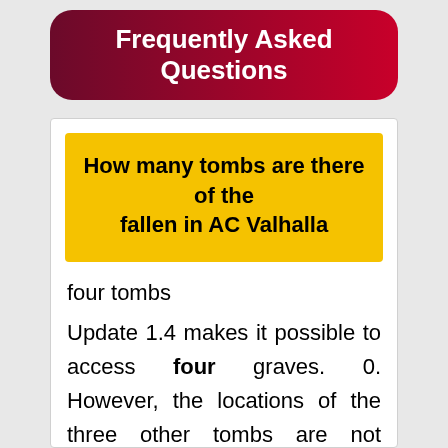Frequently Asked Questions
How many tombs are there of the fallen in AC Valhalla
four tombs
Update 1.4 makes it possible to access four graves. 0. However, the locations of the three other tombs are not obvious. But you can explore Manius's Sanctum and find clues that will help you